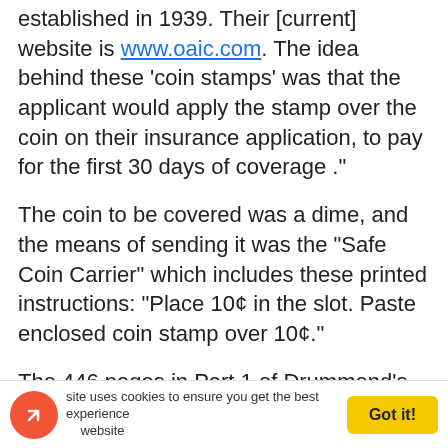established in 1939. Their [current] website is www.oaic.com. The idea behind these ‘coin stamps’ was that the applicant would apply the stamp over the coin on their insurance application, to pay for the first 30 days of coverage ."
The coin to be covered was a dime, and the means of sending it was the “Safe Coin Carrier” which includes these printed instructions: “Place 10¢ in the slot. Paste enclosed coin stamp over 10¢.”
The 446 pages in Part 1 of Drummond’s catalog cover 34 categories of cinderella material, including such esoterica as Arctic air mercy flight stamps, Frederick H. Dietz labels, grocery store stamps, and interplanetary postage stamps.
All three parts of the catalog are available from revenue dealer Eric Jackson, Box 728, Leesport, PA 19533, or
This website uses cookies to ensure you get the best experience on our website  Got it!